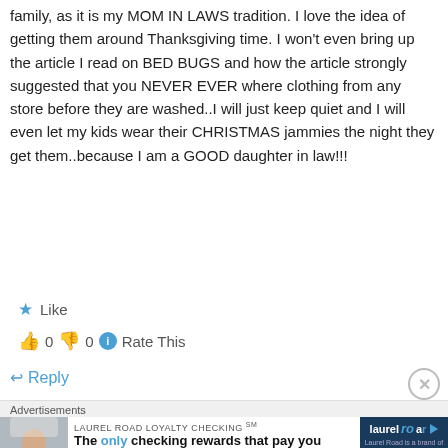family, as it is my MOM IN LAWS tradition. I love the idea of getting them around Thanksgiving time. I won't even bring up the article I read on BED BUGS and how the article strongly suggested that you NEVER EVER where clothing from any store before they are washed..I will just keep quiet and I will even let my kids wear their CHRISTMAS jammies the night they get them..because I am a GOOD daughter in law!!!
★ Like
👍 0 👎 0 ℹ Rate This
↩ Reply
[Figure (other): Advertisement banner for Laurel Road Loyalty Checking - 'The only checking rewards that pay you when you get paid.' with logo and photo of woman]